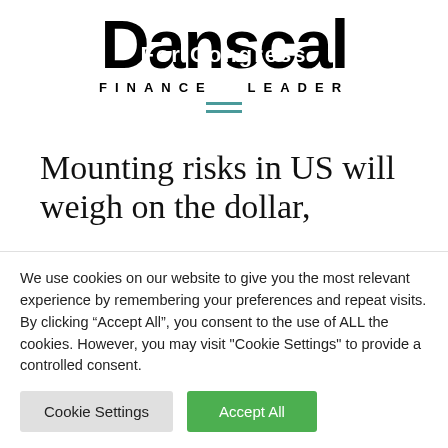[Figure (logo): Danscal For Congress Finance Leader logo - large bold black text 'Danscal' with 'For Congress' overlaid in white, and 'Finance Leader' in spaced capitals below]
[Figure (other): Hamburger menu icon - three horizontal teal/cyan lines]
Mounting risks in US will weigh on the dollar,
We use cookies on our website to give you the most relevant experience by remembering your preferences and repeat visits. By clicking “Accept All”, you consent to the use of ALL the cookies. However, you may visit "Cookie Settings" to provide a controlled consent.